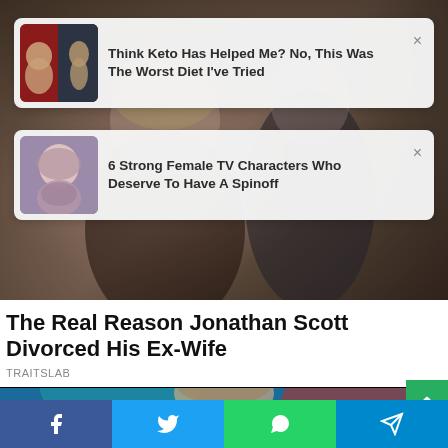[Figure (screenshot): Blurred background image of a couple (woman in black dress, man in suit) at an event]
Think Keto Has Helped Me? No, This Was The Worst Diet I've Tried
6 Strong Female TV Characters Who Deserve To Have A Spinoff
The Real Reason Jonathan Scott Divorced His Ex-Wife
TRAITSLAB
[Figure (photo): Partial photo of a person (Jonathan Scott) with colorful background]
[Figure (infographic): Social share bar with Facebook, Twitter, WhatsApp, and Telegram buttons]